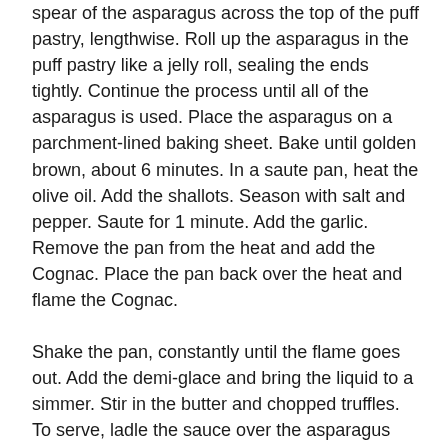spear of the asparagus across the top of the puff pastry, lengthwise. Roll up the asparagus in the puff pastry like a jelly roll, sealing the ends tightly. Continue the process until all of the asparagus is used. Place the asparagus on a parchment-lined baking sheet. Bake until golden brown, about 6 minutes. In a saute pan, heat the olive oil. Add the shallots. Season with salt and pepper. Saute for 1 minute. Add the garlic. Remove the pan from the heat and add the Cognac. Place the pan back over the heat and flame the Cognac.
Shake the pan, constantly until the flame goes out. Add the demi-glace and bring the liquid to a simmer. Stir in the butter and chopped truffles. To serve, ladle the sauce over the asparagus and serve. This recipe yields 4 servings.
Recipe Source: EMERIL LIVE with Emeril Lagasse From the TV FOOD NETWORK - (Show # EM-1B35 broadcast 05-06-1998) Downloaded from their Web-Site -